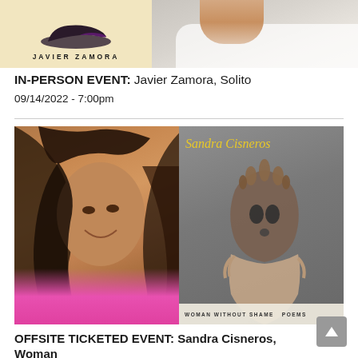[Figure (photo): Top strip showing two images side by side: left is the book cover of 'Solito' by Javier Zamora with cream/tan background and author name in bold letters; right is a cropped photo of a person in a white shirt]
IN-PERSON EVENT: Javier Zamora, Solito
09/14/2022 - 7:00pm
[Figure (photo): Two images side by side: left is a photo of Sandra Cisneros, a woman with long flowing dark hair wearing a pink/magenta shirt, smiling; right is the book cover of 'Woman Without Shame' by Sandra Cisneros showing the author's name in yellow script on a gray background with a figure holding a sculptural mask]
OFFSITE TICKETED EVENT: Sandra Cisneros, Woman